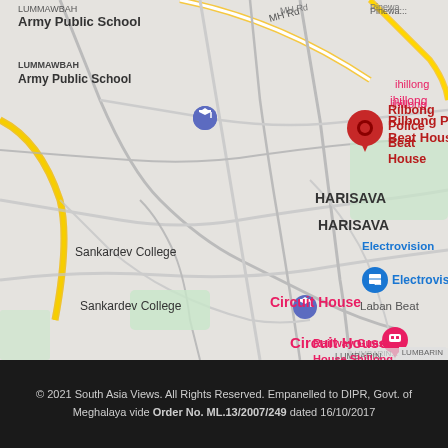[Figure (map): Google Maps screenshot showing area around Rilbong Police Beat House in Shillong, Meghalaya. Key landmarks visible: LUMMAWBAH, Army Public School, Sankardev College, Circuit House, Electrovision, Laban Beat, Railway Guest House Shillong, Treebo La Castle Residency, Twice but nice trift store Shillong-793001, HARISAVA. Roads including MH Rd visible. Red pin marks Rilbong Police Beat House.]
© 2021 South Asia Views. All Rights Reserved. Empanelled to DIPR, Govt. of Meghalaya vide Order No. ML.13/2007/249 dated 16/10/2017